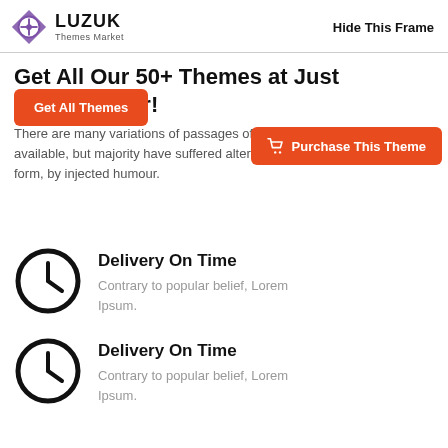LUZUK Themes Market — Hide This Frame
Get All Our 50+ Themes at Just Limited Offer!
There are many variations of passages of Lorem Ipsum available, but majority have suffered alteration in some form, by injected humour.
[Figure (other): Orange button: Get All Themes]
[Figure (other): Orange button: Purchase This Theme with cart icon]
Delivery On Time
Contrary to popular belief, Lorem Ipsum.
Delivery On Time
Contrary to popular belief, Lorem Ipsum.